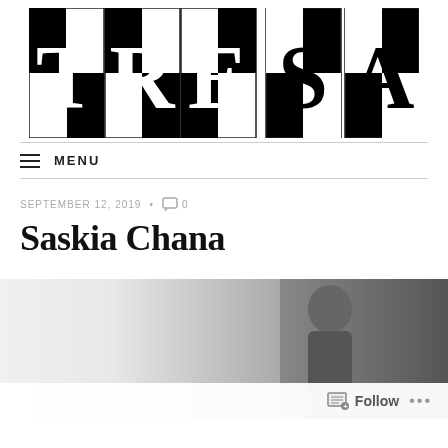[Figure (logo): TRESA logo with black and white checkerboard pattern and large serif letters T, R, E, S, A]
MENU
SEPTEMBER 12, 2019  •  0
Saskia Chana
[Figure (photo): Black and white photograph, partially visible, showing a person]
Follow  •••